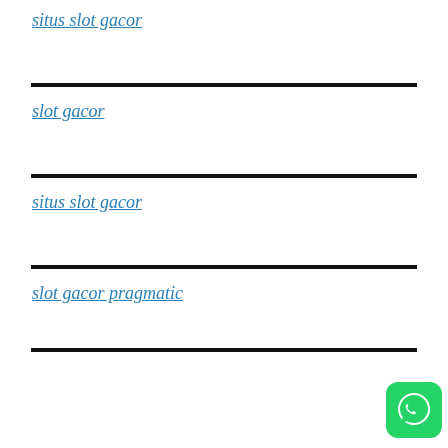situs slot gacor
slot gacor
situs slot gacor
slot gacor pragmatic